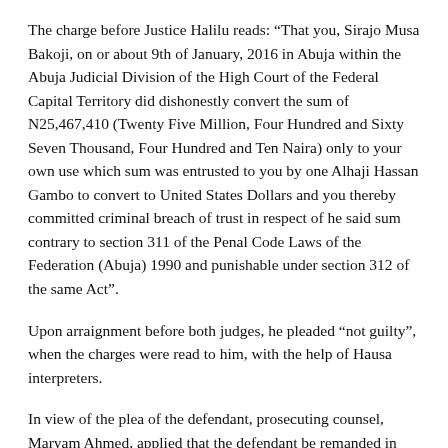The charge before Justice Halilu reads: “That you, Sirajo Musa Bakoji, on or about 9th of January, 2016 in Abuja within the Abuja Judicial Division of the High Court of the Federal Capital Territory did dishonestly convert the sum of N25,467,410 (Twenty Five Million, Four Hundred and Sixty Seven Thousand, Four Hundred and Ten Naira) only to your own use which sum was entrusted to you by one Alhaji Hassan Gambo to convert to United States Dollars and you thereby committed criminal breach of trust in respect of he said sum contrary to section 311 of the Penal Code Laws of the Federation (Abuja) 1990 and punishable under section 312 of the same Act”.
Upon arraignment before both judges, he pleaded “not guilty”, when the charges were read to him, with the help of Hausa interpreters.
In view of the plea of the defendant, prosecuting counsel, Maryam Ahmed, applied that the defendant be remanded in prison custody subject to the determination of bail...